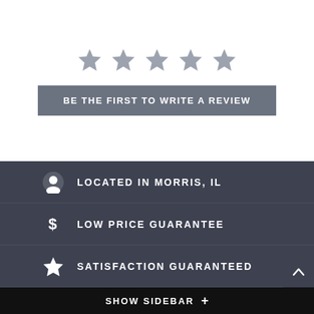[Figure (other): Five grey star rating icons displayed in a row]
BE THE FIRST TO WRITE A REVIEW
LOCATED IN MORRIS, IL
LOW PRICE GUARANTEE
SATISFACTION GUARANTEED
SHOW SIDEBAR +